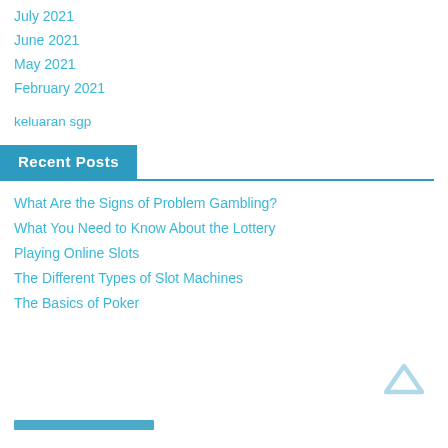July 2021
June 2021
May 2021
February 2021
keluaran sgp
Recent Posts
What Are the Signs of Problem Gambling?
What You Need to Know About the Lottery
Playing Online Slots
The Different Types of Slot Machines
The Basics of Poker